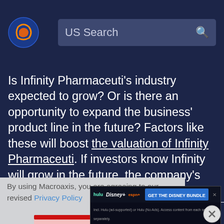[Figure (logo): Macroaxis orange and blue globe logo]
US Search
Is Infinity Pharmaceuti's industry expected to grow? Or is there an opportunity to expand the business' product line in the future? Factors like these will boost the valuation of Infinity Pharmaceuti. If investors know Infinity will grow in the future, the company's valuation will be higher. The
By using Macroaxis, you are agreeing to our revised Privacy Policy
[Figure (screenshot): GET THE DISNEY BUNDLE advertisement banner featuring Hulu, Disney+, ESPN+ logos]